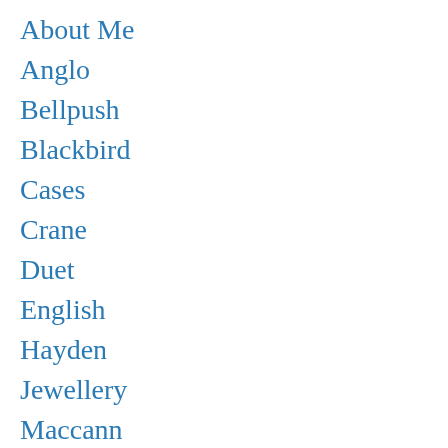About Me
Anglo
Bellpush
Blackbird
Cases
Crane
Duet
English
Hayden
Jewellery
Maccann
Müller